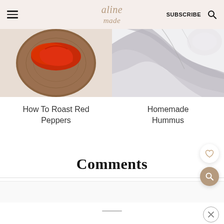aline made — SUBSCRIBE
[Figure (photo): Photo of roasted red peppers on a wooden cutting board, top-down view]
[Figure (photo): Photo of a light grey linen cloth/napkin on white surface]
How To Roast Red Peppers
Homemade Hummus
Comments